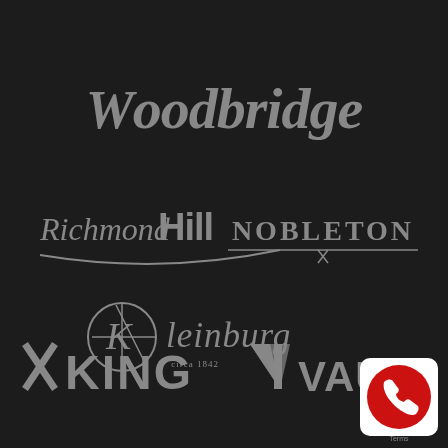[Figure (logo): Woodbridge logo in gray script/serif font on dark background]
[Figure (logo): Richmond Hill logo in gray cursive font on dark background]
[Figure (logo): NOBLETON logo in gray serif/uppercase font on dark background]
[Figure (logo): Kleinburg logo with circular graphic and cursive text, circa 1842, on dark background]
[Figure (logo): KING logo in gray bold font on dark background]
[Figure (logo): VAUGHAN logo with arrow/V graphic in gray on dark background]
[Figure (logo): Phone/call button icon in red circle at bottom right corner]